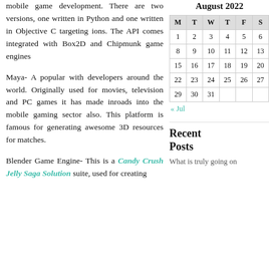mobile game development. There are two versions, one written in Python and one written in Objective C targeting ions. The API comes integrated with Box2D and Chipmunk game engines
Maya- A popular with developers around the world. Originally used for movies, television and PC games it has made inroads into the mobile gaming sector also. This platform is famous for generating awesome 3D resources for matches.
Blender Game Engine- This is a Candy Crush Jelly Saga Solution suite, used for creating
August 2022
| M | T | W | T | F | S |
| --- | --- | --- | --- | --- | --- |
| 1 | 2 | 3 | 4 | 5 | 6 |
| 8 | 9 | 10 | 11 | 12 | 13 |
| 15 | 16 | 17 | 18 | 19 | 20 |
| 22 | 23 | 24 | 25 | 26 | 27 |
| 29 | 30 | 31 |  |  |  |
« Jul
Recent Posts
What is truly going on